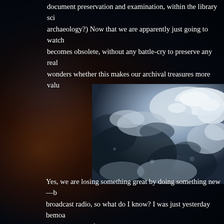document preservation and examination, within the library science archaeology?) Now that we are apparently just going to watch becomes obsolete, without any battle-cry to preserve any real wonders whether this makes our archival treasures more valu
[Figure (photo): Aerial or satellite photograph showing clouds and ocean/land from above, in dark blue-grey tones with white cloud formations]
Yes, we are losing something great by doing something new—b broadcast radio, so what do I know? I was just yesterday bemoa disappearance of that great stationers shop in Brewster—it wa supplies.